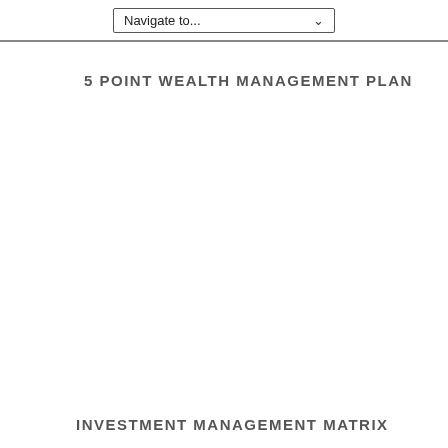Navigate to...
5 POINT WEALTH MANAGEMENT PLAN
INVESTMENT MANAGEMENT MATRIX